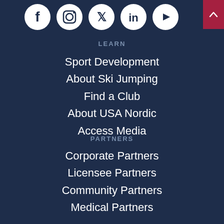[Figure (illustration): Social media icons row: Facebook, Instagram, Twitter, LinkedIn, YouTube — white circle icons on dark navy background]
[Figure (illustration): Back to top arrow button in crimson/dark red top-right corner]
LEARN
Sport Development
About Ski Jumping
Find a Club
About USA Nordic
Access Media
PARTNERS
Corporate Partners
Licensee Partners
Community Partners
Medical Partners